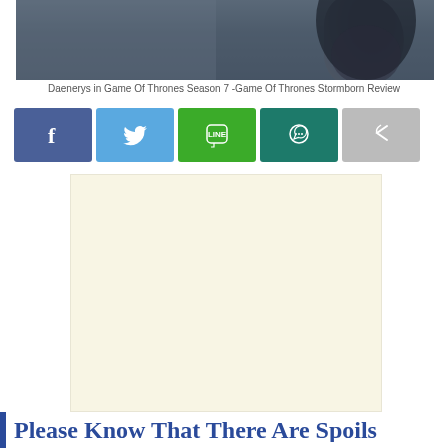[Figure (photo): Daenerys character from Game of Thrones Season 7, dark moody background with figure silhouette]
Daenerys in Game Of Thrones Season 7 -Game Of Thrones Stormborn Review
[Figure (infographic): Social media share buttons: Facebook (blue), Twitter (light blue), LINE (green), WhatsApp (dark teal), Share (grey)]
[Figure (other): Advertisement placeholder block with light cream/beige background]
Please Know That There Are Spoils